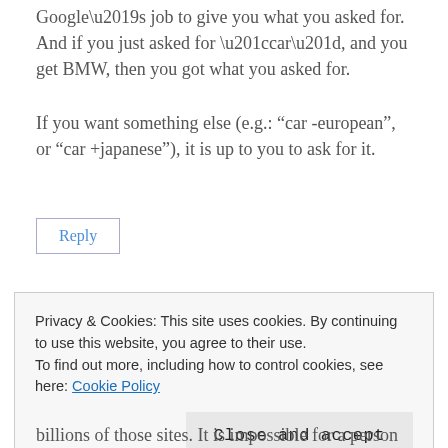Google’s job to give you what you asked for. And if you just asked for “car”, and you get BMW, then you got what you asked for.
If you want something else (e.g.: “car -european”, or “car +japanese”), it is up to you to ask for it.
Reply
Privacy & Cookies: This site uses cookies. By continuing to use this website, you agree to their use.
To find out more, including how to control cookies, see here: Cookie Policy
Close and accept
billions of those sites. It is impossible for a person